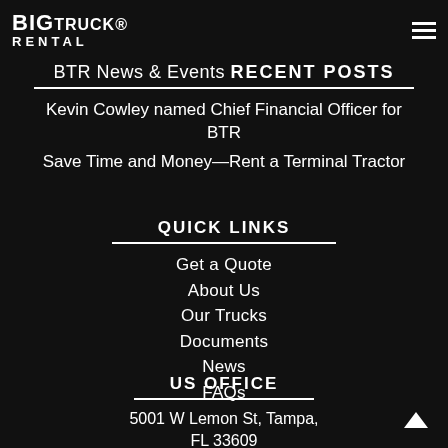BIG TRUCK RENTAL
BTR News & Events RECENT POSTS
Kevin Cowley named Chief Financial Officer for BTR
Save Time and Money—Rent a Terminal Tractor
QUICK LINKS
Get a Quote
About Us
Our Trucks
Documents
News
FAQs
US OFFICE
5001 W Lemon St, Tampa, FL 33609